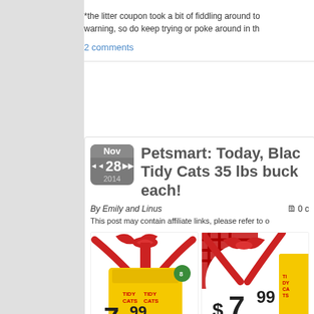*the litter coupon took a bit of fiddling around to warning, so do keep trying or poke around in th
2 comments
Petsmart: Today, Black Friday, Tidy Cats 35 lbs bucket $7.99 each!
Nov 28 2014
By Emily and Linus   0 comments
This post may contain affiliate links, please refer to o
[Figure (photo): Two product advertisement images showing Purina Tidy Cats 35 lb pail on sale for $7.99 with PetPerks card, originally $14.99]